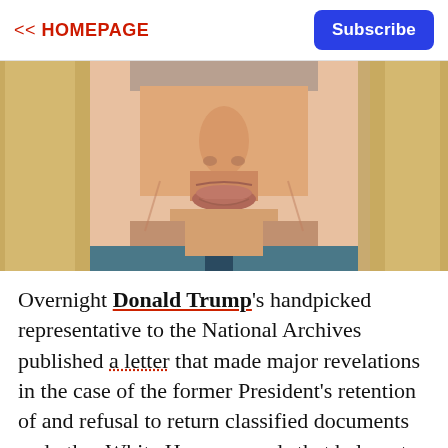<< HOMEPAGE | Subscribe
[Figure (photo): Close-up photograph of a man's face from the nose down, wearing a suit and tie, with a golden/yellow background.]
Overnight Donald Trump's handpicked representative to the National Archives published a letter that made major revelations in the case of the former President's retention of and refusal to return classified documents and other White House records that belong to the federal government.
That letter was written by the National Archives (NARA) and published by John Solomon, a